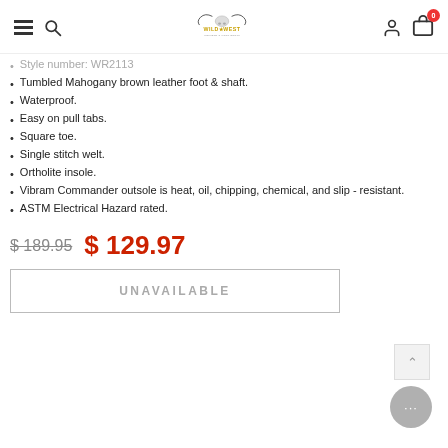Wild West — navigation bar with hamburger menu, search, logo, user icon, and cart (0 items)
Style number: WR2113
Tumbled Mahogany brown leather foot & shaft.
Waterproof.
Easy on pull tabs.
Square toe.
Single stitch welt.
Ortholite insole.
Vibram Commander outsole is heat, oil, chipping, chemical, and slip - resistant.
ASTM Electrical Hazard rated.
$ 189.95  $ 129.97
UNAVAILABLE